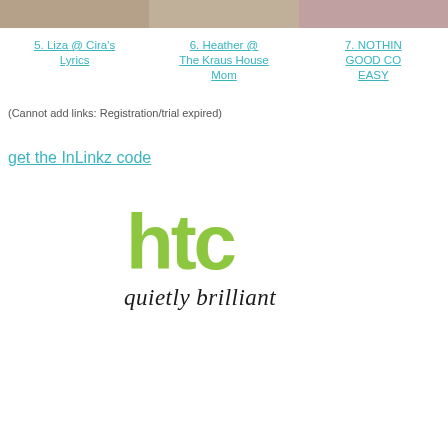[Figure (photo): Three thumbnail images of people/bloggers at top of page]
5. Liza @ Cira's Lyrics
6. Heather @ The Kraus House Mom
7. NOTHING GOOD COMES EASY
(Cannot add links: Registration/trial expired)
get the InLinkz code
[Figure (logo): HTC logo with 'quietly brilliant' tagline]